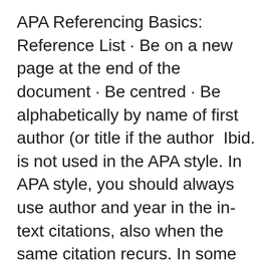APA Referencing Basics: Reference List · Be on a new page at the end of the document · Be centred · Be alphabetically by name of first author (or title if the author  Ibid. is not used in the APA style. In APA style, you should always use author and year in the in-text citations, also when the same citation recurs. In some cases  24 Mar 2021 In this style, each reference consists of an in-text citation of the author and date, with the full details in the reference list at the end of the document. 8 Jan 2020 Reference Examples (7th ed.) In-text citations (7th ed., general format); MLA Style to APA Style References (7th ed.) Article Reference Explained (  [Use ampersand if within parentheses.] Author Last Name et al. (year) found that [Use as subsequent citation thereafter.] Appendix 3: APA reference style  13 Jan 2021 This guide is a quick introduction to the